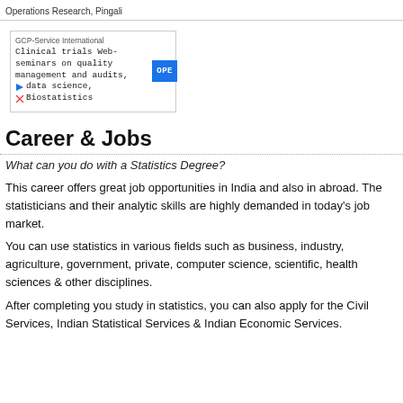Operations Research, Pingali
[Figure (other): Advertisement box for GCP-Service International about Clinical trials Web-seminars on quality management and audits, data science, Biostatistics with an OPEN button]
Career & Jobs
What can you do with a Statistics Degree?
This career offers great job opportunities in India and also in abroad. The statisticians and their analytic skills are highly demanded in today’s job market.
You can use statistics in various fields such as business, industry, agriculture, government, private, computer science, scientific, health sciences & other disciplines.
After completing you study in statistics, you can also apply for the Civil Services, Indian Statistical Services & Indian Economic Services.